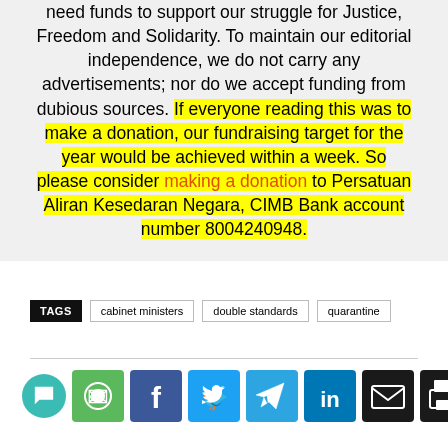need funds to support our struggle for Justice, Freedom and Solidarity. To maintain our editorial independence, we do not carry any advertisements; nor do we accept funding from dubious sources. If everyone reading this was to make a donation, our fundraising target for the year would be achieved within a week. So please consider making a donation to Persatuan Aliran Kesedaran Negara, CIMB Bank account number 8004240948.
TAGS   cabinet ministers   double standards   quarantine
[Figure (other): Social sharing buttons row: WhatsApp (green), Facebook (dark blue), Twitter (light blue), Telegram (cyan-blue), LinkedIn (blue), Email (dark), Print (dark). Also a chat bubble button on the left.]